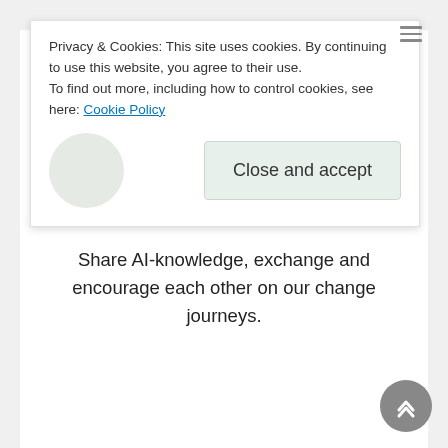Privacy & Cookies: This site uses cookies. By continuing to use this website, you agree to their use. To find out more, including how to control cookies, see here: Cookie Policy
Why?
Share AI-knowledge, exchange and encourage each other on our change journeys.